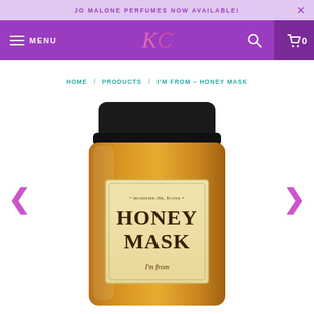JO MALONE PERFUMES NOW AVAILABLE!
MENU | KC logo | search | 0
HOME / PRODUCTS / I'M FROM - HONEY MASK
[Figure (photo): A jar of I'm From Honey Mask with a black lid, amber-golden glass jar, and cream-colored label reading 'mountain Jin, Korea', 'HONEY MASK', and 'I'm from'. Navigation arrows (< >) on either side.]